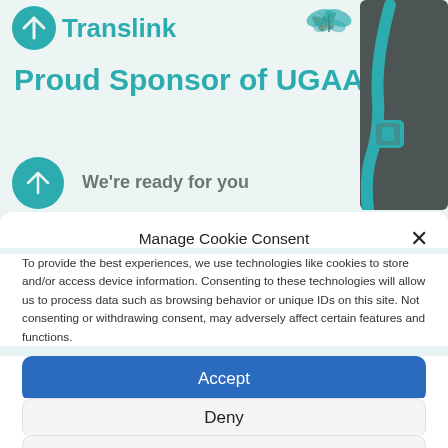[Figure (screenshot): Translink branding banner showing logo, 'Proud Sponsor of UGAA' text, a decorative bag illustration, and 'We're ready for you' tagline with teal color scheme]
Manage Cookie Consent
To provide the best experiences, we use technologies like cookies to store and/or access device information. Consenting to these technologies will allow us to process data such as browsing behavior or unique IDs on this site. Not consenting or withdrawing consent, may adversely affect certain features and functions.
Accept
Deny
View preferences